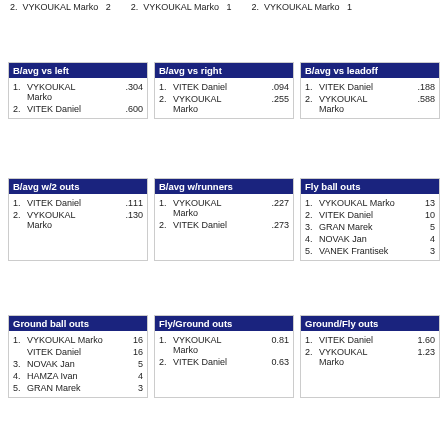2. VYKOUKAL Marko  2     2. VYKOUKAL Marko  1     2. VYKOUKAL Marko  1
| B/avg vs left |
| --- |
| 1. | VYKOUKAL Marko | .304 |
| 2. | VITEK Daniel | .600 |
| B/avg vs right |
| --- |
| 1. | VITEK Daniel | .094 |
| 2. | VYKOUKAL Marko | .255 |
| B/avg vs leadoff |
| --- |
| 1. | VITEK Daniel | .188 |
| 2. | VYKOUKAL Marko | .588 |
| B/avg w/2 outs |
| --- |
| 1. | VITEK Daniel | .111 |
| 2. | VYKOUKAL Marko | .130 |
| B/avg w/runners |
| --- |
| 1. | VYKOUKAL Marko | .227 |
| 2. | VITEK Daniel | .273 |
| Fly ball outs |
| --- |
| 1. | VYKOUKAL Marko | 13 |
| 2. | VITEK Daniel | 10 |
| 3. | GRAN Marek | 5 |
| 4. | NOVAK Jan | 4 |
| 5. | VANEK Frantisek | 3 |
| Ground ball outs |
| --- |
| 1. | VYKOUKAL Marko | 16 |
|  | VITEK Daniel | 16 |
| 3. | NOVAK Jan | 5 |
| 4. | HAMZA Ivan | 4 |
| 5. | GRAN Marek | 3 |
| Fly/Ground outs |
| --- |
| 1. | VYKOUKAL Marko | 0.81 |
| 2. | VITEK Daniel | 0.63 |
| Ground/Fly outs |
| --- |
| 1. | VITEK Daniel | 1.60 |
| 2. | VYKOUKAL Marko | 1.23 |